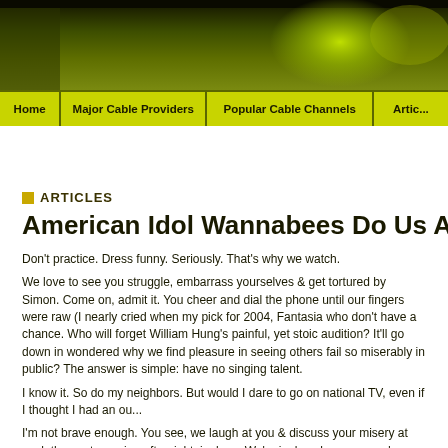[Figure (photo): Website header banner with dark olive/green gradient background and bright green highlight element]
Home | Major Cable Providers | Popular Cable Channels | Artic...
[Figure (other): Advertisement area (blank white space)]
ARTICLES
American Idol Wannabees Do Us All A Fav...
Don't practice. Dress funny. Seriously. That's why we watch.
We love to see you struggle, embarrass yourselves & get tortured by Simon. Come on, admit it. You cheer and dial the phone until our fingers were raw (I nearly cried when my pick for 2004, Fantasia who don't have a chance. Who will forget William Hung's painful, yet stoic audition? It'll go down in wondered why we find pleasure in seeing others fail so miserably in public? The answer is simple: have no singing talent.
I know it. So do my neighbors. But would I dare to go on national TV, even if I thought I had an ou...
I'm not brave enough. You see, we laugh at you & discuss your misery at work the next morning aft... right, jealous. We're jealous because you're willing to take that chance that most of us never will...